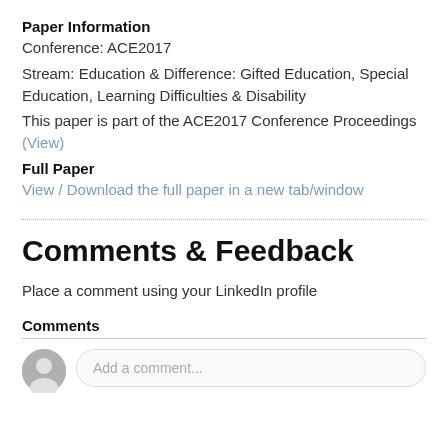Paper Information
Conference: ACE2017
Stream: Education & Difference: Gifted Education, Special Education, Learning Difficulties & Disability
This paper is part of the ACE2017 Conference Proceedings (View)
Full Paper
View / Download the full paper in a new tab/window
Comments & Feedback
Place a comment using your LinkedIn profile
Comments
Add a comment...